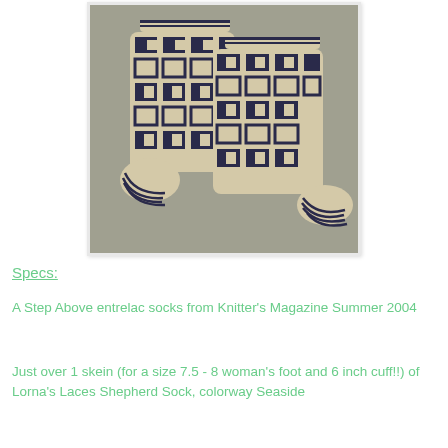[Figure (photo): A pair of knitted entrelac socks in cream/beige and dark navy blue pattern, laid flat on a gray surface. The socks show a geometric basket-weave entrelac pattern on the top and striped toe/heel sections.]
Specs:
A Step Above entrelac socks from Knitter's Magazine Summer 2004
Just over 1 skein (for a size 7.5 - 8 woman's foot and 6 inch cuff!!) of Lorna's Laces Shepherd Sock, colorway Seaside